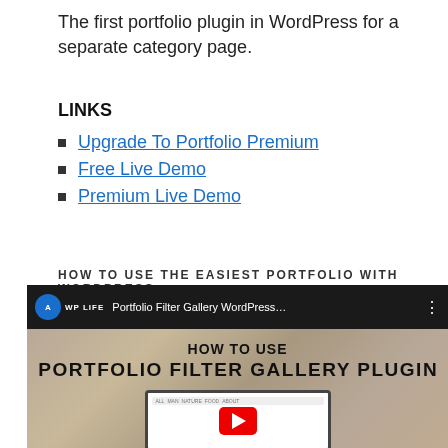The first portfolio plugin in WordPress for a separate category page.
LINKS
Upgrade To Portfolio Premium
Free Live Demo
Premium Live Demo
HOW TO USE THE EASIEST PORTFOLIO WITH WORDPRESS
[Figure (screenshot): YouTube video thumbnail showing 'Portfolio Filter Gallery WordPress...' video with text 'HOW TO USE PORTFOLIO FILTER GALLERY PLUGIN' overlaid on a wood background with a laptop preview showing a play button.]